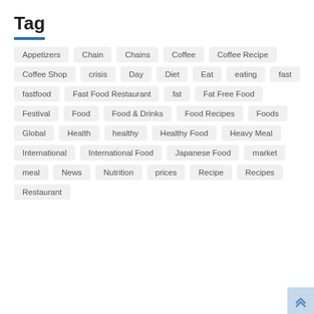Tag
Appetizers
Chain
Chains
Coffee
Coffee Recipe
Coffee Shop
crisis
Day
Diet
Eat
eating
fast
fastfood
Fast Food Restaurant
fat
Fat Free Food
Festival
Food
Food & Drinks
Food Recipes
Foods
Global
Health
healthy
Healthy Food
Heavy Meal
International
International Food
Japanese Food
market
meal
News
Nutrition
prices
Recipe
Recipes
Restaurant